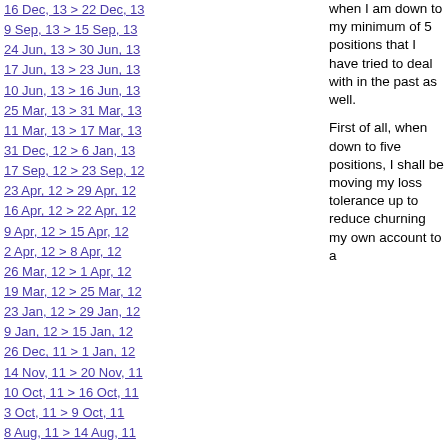16 Dec, 13 > 22 Dec, 13
9 Sep, 13 > 15 Sep, 13
24 Jun, 13 > 30 Jun, 13
17 Jun, 13 > 23 Jun, 13
10 Jun, 13 > 16 Jun, 13
25 Mar, 13 > 31 Mar, 13
11 Mar, 13 > 17 Mar, 13
31 Dec, 12 > 6 Jan, 13
17 Sep, 12 > 23 Sep, 12
23 Apr, 12 > 29 Apr, 12
16 Apr, 12 > 22 Apr, 12
9 Apr, 12 > 15 Apr, 12
2 Apr, 12 > 8 Apr, 12
26 Mar, 12 > 1 Apr, 12
19 Mar, 12 > 25 Mar, 12
23 Jan, 12 > 29 Jan, 12
9 Jan, 12 > 15 Jan, 12
26 Dec, 11 > 1 Jan, 12
14 Nov, 11 > 20 Nov, 11
10 Oct, 11 > 16 Oct, 11
3 Oct, 11 > 9 Oct, 11
8 Aug, 11 > 14 Aug, 11
1 Aug, 11 > 7 Aug, 11
18 Jul, 11 > 24 Jul, 11
27 Jun, 11 > 3 Jul, 11
13 Jun, 11 > 19 Jun, 11
6 Jun, 11 > 12 Jun, 11
23 May, 11 > 29 May, 11
when I am down to my minimum of 5 positions that I have tried to deal with in the past as well.
First of all, when down to five positions, I shall be moving my loss tolerance up to reduce churning my own account to a